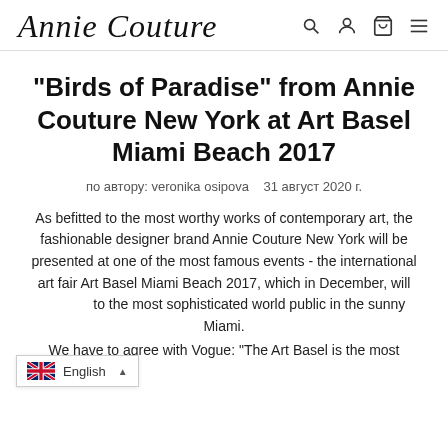Annie Couture
"Birds of Paradise" from Annie Couture New York at Art Basel Miami Beach 2017
по автору: veronika osipova   31 август 2020 г.
As befitted to the most worthy works of contemporary art, the fashionable designer brand Annie Couture New York will be presented at one of the most famous events - the international art fair Art Basel Miami Beach 2017, which in December, will present to the most sophisticated world public in the sunny Miami.
We have to agree with Vogue: "The Art Basel is the most